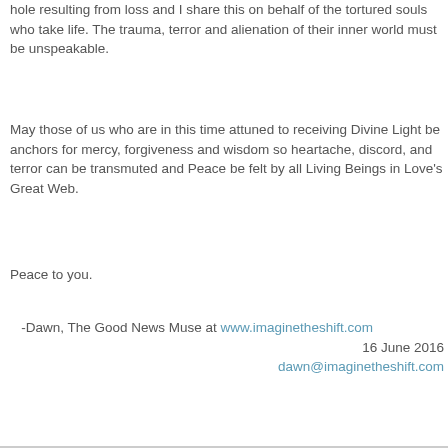hole resulting from loss and I share this on behalf of the tortured souls who take life. The trauma, terror and alienation of their inner world must be unspeakable.
May those of us who are in this time attuned to receiving Divine Light be anchors for mercy, forgiveness and wisdom so heartache, discord, and terror can be transmuted and Peace be felt by all Living Beings in Love's Great Web.
Peace to you.
-Dawn, The Good News Muse at www.imaginetheshift.com
16 June 2016
dawn@imaginetheshift.com